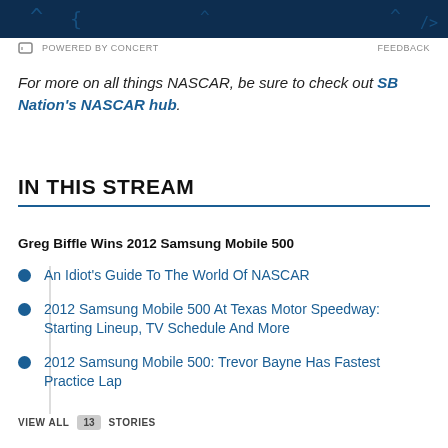[Figure (other): Dark navy blue decorative banner with code symbols]
POWERED BY CONCERT   FEEDBACK
For more on all things NASCAR, be sure to check out SB Nation's NASCAR hub.
IN THIS STREAM
Greg Biffle Wins 2012 Samsung Mobile 500
An Idiot's Guide To The World Of NASCAR
2012 Samsung Mobile 500 At Texas Motor Speedway: Starting Lineup, TV Schedule And More
2012 Samsung Mobile 500: Trevor Bayne Has Fastest Practice Lap
VIEW ALL 13 STORIES